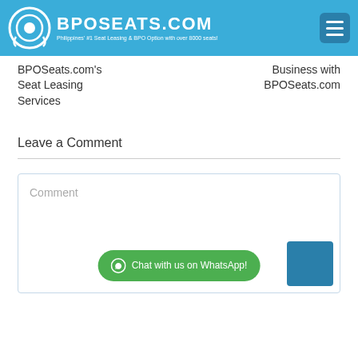BPOSEATS.COM - Philippines' #1 Seat Leasing & BPO Option with over 8000 seats!
BPOSeats.com's Seat Leasing Services
Business with BPOSeats.com
Leave a Comment
Comment